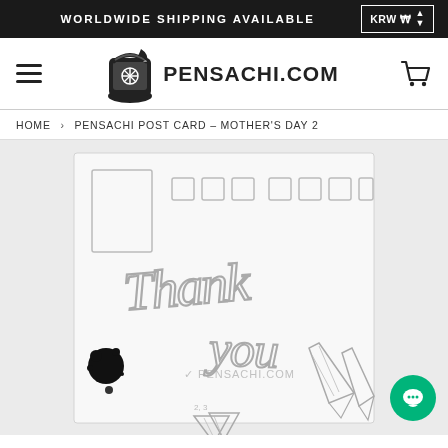WORLDWIDE SHIPPING AVAILABLE    KRW ₩
[Figure (logo): Pensachi.com logo with scrolled book icon and site name]
HOME › PENSACHI POST CARD - MOTHER'S DAY 2
[Figure (photo): Pensachi postcard - Mother's Day 2, showing a 'Thank you' handwritten-style illustration with Korean text boxes, ink blot, and pen nibs, with Pensachi.com watermark]